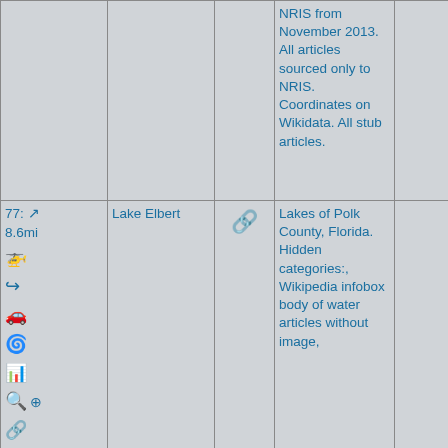| Controls/Distance | Name | Link | Categories | Extra |
| --- | --- | --- | --- | --- |
| (top row continuing) |  |  | NRIS from November 2013. All articles sourced only to NRIS. Coordinates on Wikid-ata. All stub articles. |  |
| 77: ↗ 8.6mi 🚁 ↗ 🚗 🌀 📊 🔍 ⊕ 🔗 | Lake Elbert | 🔗 | Lakes of Polk County, Florida. Hidden categories:, Wikipedia infobox body of water articles without image, |  |